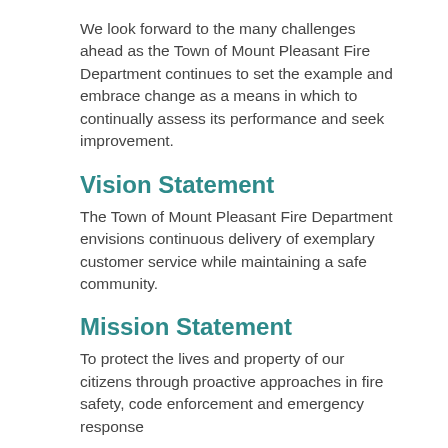We look forward to the many challenges ahead as the Town of Mount Pleasant Fire Department continues to set the example and embrace change as a means in which to continually assess its performance and seek improvement.
Vision Statement
The Town of Mount Pleasant Fire Department envisions continuous delivery of exemplary customer service while maintaining a safe community.
Mission Statement
To protect the lives and property of our citizens through proactive approaches in fire safety, code enforcement and emergency response
Value Statements
The following are considered core principles of the Town of Mount Pleasant Fire Department.